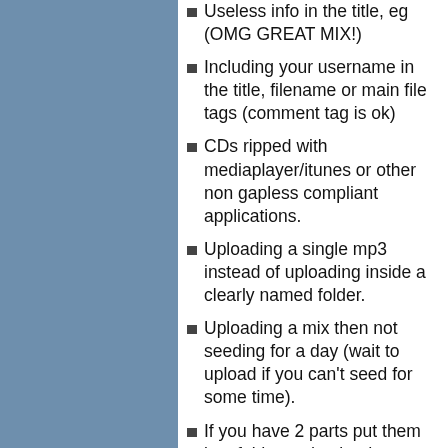Useless info in the title, eg (OMG GREAT MIX!)
Including your username in the title, filename or main file tags (comment tag is ok)
CDs ripped with mediaplayer/itunes or other non gapless compliant applications.
Uploading a single mp3 instead of uploading inside a clearly named folder.
Uploading a mix then not seeding for a day (wait to upload if you can't seed for some time).
If you have 2 parts put them in a folder and upload as one, DO NOT upload 2 separate torrents
Forgetting to include the site .nfo file.
Incorrect choice of category or genre.
Important:
If you have made any of these mistakes and an admin notices it they